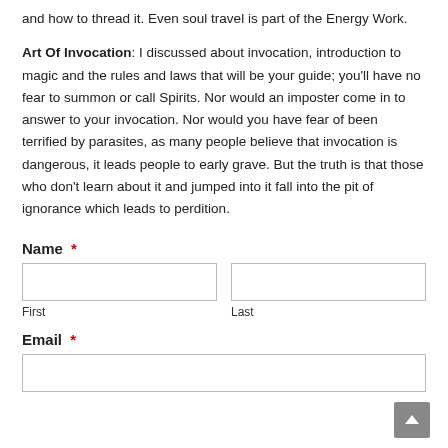and how to thread it. Even soul travel is part of the Energy Work.
Art Of Invocation: I discussed about invocation, introduction to magic and the rules and laws that will be your guide; you'll have no fear to summon or call Spirits. Nor would an imposter come in to answer to your invocation. Nor would you have fear of been terrified by parasites, as many people believe that invocation is dangerous, it leads people to early grave. But the truth is that those who don't learn about it and jumped into it fall into the pit of ignorance which leads to perdition.
Name *
First
Last
Email *